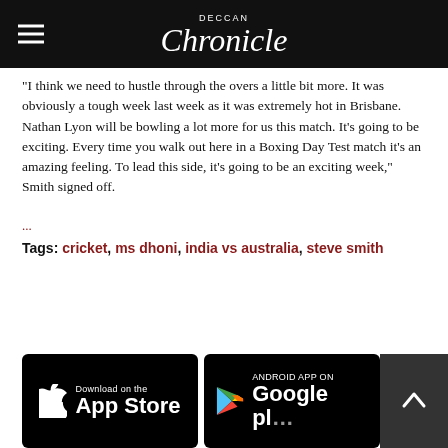Deccan Chronicle
"I think we need to hustle through the overs a little bit more. It was obviously a tough week last week as it was extremely hot in Brisbane. Nathan Lyon will be bowling a lot more for us this match. It's going to be exciting. Every time you walk out here in a Boxing Day Test match it's an amazing feeling. To lead this side, it's going to be an exciting week," Smith signed off.
...
Tags: cricket, ms dhoni, india vs australia, steve smith
[Figure (screenshot): Download on the App Store button and Android App on Google Play button at the bottom of the page]